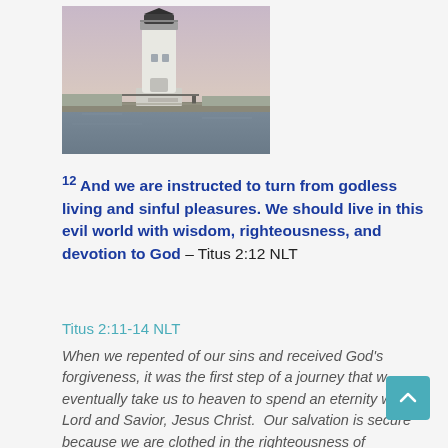[Figure (photo): A lighthouse with a white cylindrical tower and dark lantern room, photographed at dusk with water and a pinkish-purple sky in the background.]
12 And we are instructed to turn from godless living and sinful pleasures. We should live in this evil world with wisdom, righteousness, and devotion to God – Titus 2:12 NLT
Titus 2:11-14 NLT
When we repented of our sins and received God's forgiveness, it was the first step of a journey that w eventually take us to heaven to spend an eternity w our Lord and Savior, Jesus Christ. Our salvation is secure because we are clothed in the righteousness of